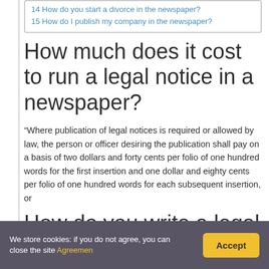14 How do you start a divorce in the newspaper?
15 How do I publish my company in the newspaper?
How much does it cost to run a legal notice in a newspaper?
“Where publication of legal notices is required or allowed by law, the person or officer desiring the publication shall pay on a basis of two dollars and forty cents per folio of one hundred words for the first insertion and one dollar and eighty cents per folio of one hundred words for each subsequent insertion, or
How do you write a legal
We store cookies: if you do not agree, you can close the site Agreement